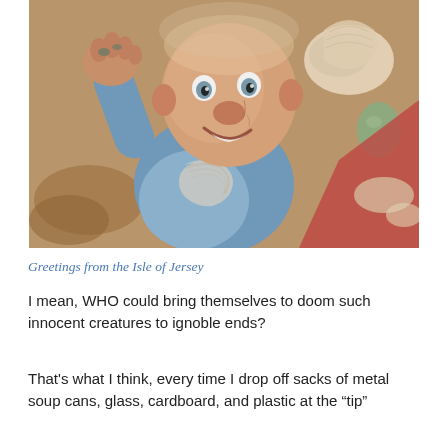[Figure (photo): Close-up photograph of a ceramic garden gnome figurine with a weathered blue jacket and pink face, one hand raised in a wave, surrounded by seashells and natural objects. The gnome has large eyes and a smiling expression.]
Greetings from the Isle of Jersey
I mean, WHO could bring themselves to doom such innocent creatures to ignoble ends?
That's what I think, every time I drop off sacks of metal soup cans, glass, cardboard, and plastic at the "tip"